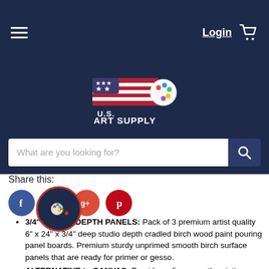Login  [cart icon]  [hamburger menu]
[Figure (logo): U.S. Art Supply logo with American flag and paint palette on dark navy background]
What are you looking for?
Share this:
[Figure (infographic): Social share icons: Facebook (blue), Twitter (light blue), Google+ (red-orange), Pinterest (dark red)]
3/4" STUDIO DEPTH PANELS: Pack of 3 premium artist quality 6" x 24" x 3/4" deep studio depth cradled birch wood paint pouring panel boards. Premium sturdy unprimed smooth birch surface panels that are ready for primer or gesso.
ALTERNATIVE to CANVAS: Provides a firm smooth painting surface that will not stretch, flex or bend like traditional canvases. Panels have smooth sanded birch faces with solid wood cradles that provide strength, so there will be no warping. Easy to hang, as no frames are necessary.
IDEAL for MIXED-MEDIA: Panels are excellent for paint pouring